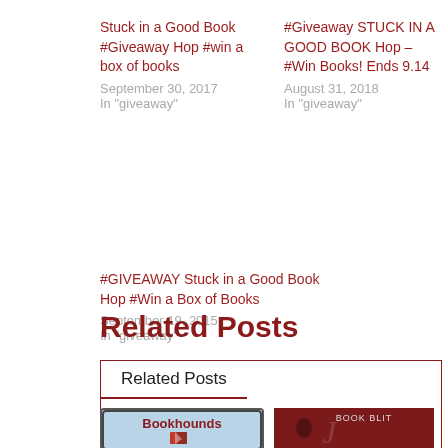Stuck in a Good Book #Giveaway Hop #win a box of books
September 30, 2017
In "giveaway"
#Giveaway STUCK IN A GOOD BOOK Hop – #Win Books! Ends 9.14
August 31, 2018
In "giveaway"
#GIVEAWAY Stuck in a Good Book Hop #Win a Box of Books
September 19, 2015
In "giveaway"
Related Posts
Related Posts
[Figure (illustration): Bookhounds book cover illustration with title text and open book graphic on light blue background]
[Figure (illustration): Book Blitz promotional image with dark red background and stylized text]